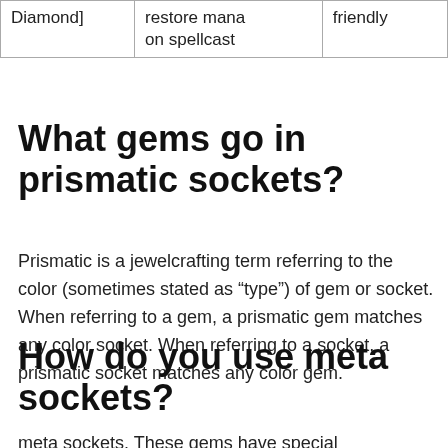| Diamond] | restore mana
on spellcast | friendly |
What gems go in prismatic sockets?
Prismatic is a jewelcrafting term referring to the color (sometimes stated as “type”) of gem or socket. When referring to a gem, a prismatic gem matches any color socket. When referring to a socket, a prismatic socket matches any color gem.
How do you use meta sockets?
meta sockets. These gems have special